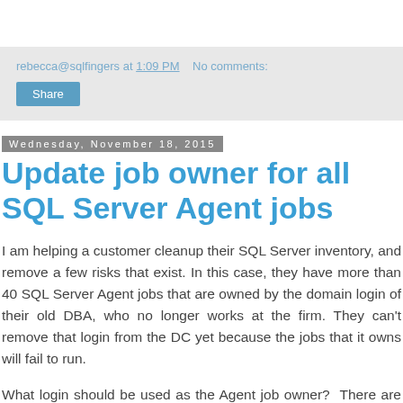rebecca@sqlfingers at 1:09 PM   No comments:
Share
Wednesday, November 18, 2015
Update job owner for all SQL Server Agent jobs
I am helping a customer cleanup their SQL Server inventory, and remove a few risks that exist. In this case, they have more than 40 SQL Server Agent jobs that are owned by the domain login of their old DBA, who no longer works at the firm. They can't remove that login from the DC yet because the jobs that it owns will fail to run.
What login should be used as the Agent job owner?  There are many opinions here, but my rule is simple;  do not define SQL Server Agent job ownership with a domain login. What